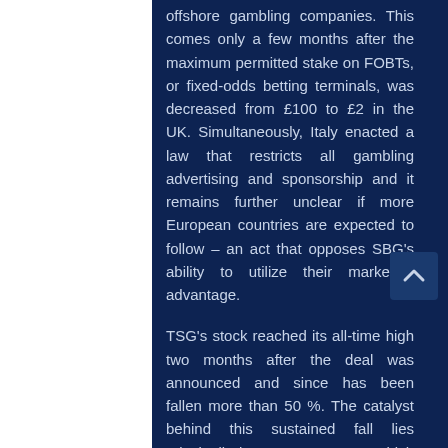offshore gambling companies. This comes only a few months after the maximum permitted stake on FOBTs, or fixed-odds betting terminals, was decreased from £100 to £2 in the UK. Simultaneously, Italy enacted a law that restricts all gambling advertising and sponsorship and it remains further unclear if more European countries are expected to follow – an act that opposes SBG's ability to utilize their marketing advantage.
TSG's stock reached its all-time high two months after the deal was announced and since has been fallen more than 50 %. The catalyst behind this sustained fall lies principally in TSG's Q2 report which reported $96